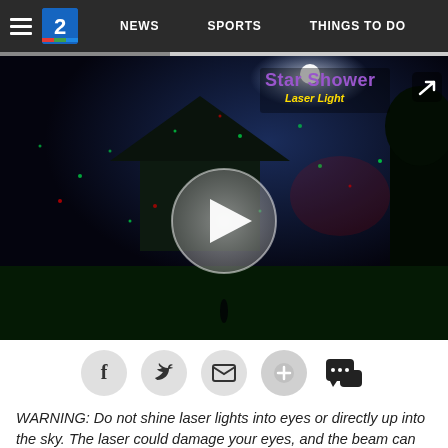NEWS  SPORTS  THINGS TO DO
[Figure (screenshot): Video thumbnail showing a house at night with colorful laser light projections (Star Shower Laser Light advertisement). A circular play button is overlaid in the center. A share icon appears in the top right corner. The Star Shower Laser Light logo is visible in the upper right of the video frame.]
[Figure (infographic): Social sharing buttons row: Facebook, Twitter, Email, Plus/Add, and Comment icons on a white background.]
WARNING: Do not shine laser lights into eyes or directly up into the sky. The laser could damage your eyes, and the beam can